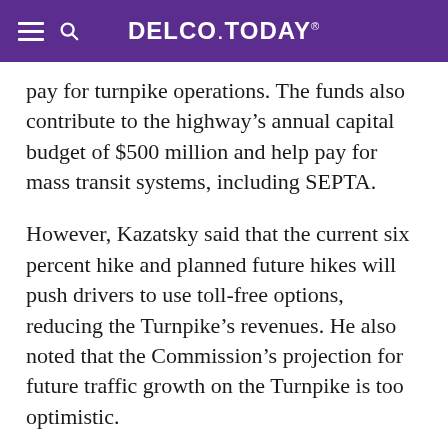DELCO.TODAY
pay for turnpike operations. The funds also contribute to the highway's annual capital budget of $500 million and help pay for mass transit systems, including SEPTA.
However, Kazatsky said that the current six percent hike and planned future hikes will push drivers to use toll-free options, reducing the Turnpike's revenues. He also noted that the Commission's projection for future traffic growth on the Turnpike is too optimistic.